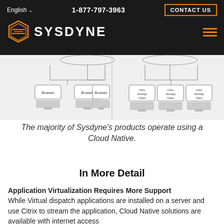English  1-877-797-3963  CONTACT US  SYSDYNE
[Figure (schematic): Network/architecture diagram showing two configurations side by side. Left side shows three Browser nodes each connected to a desktop computer. Right side shows three Citrix XenApp Client nodes each connected to a desktop computer. Both sides appear to be connected to server infrastructure shown at top.]
The majority of Sysdyne's products operate using a Cloud Native.
In More Detail
Application Virtualization Requires More Support
While Virtual dispatch applications are installed on a server and use Citrix to stream the application, Cloud Native solutions are available with internet access